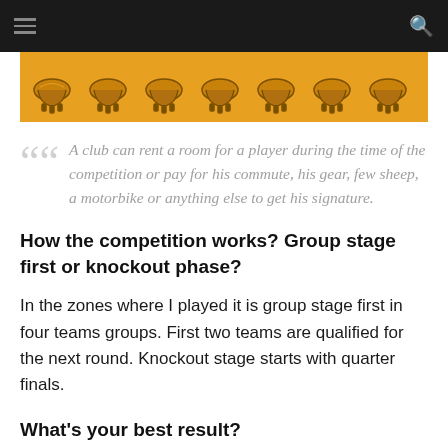[Figure (illustration): Orange banner with repeated soccer cleat/boot illustrations in a row]
A club can rent a room for a player during the time of the competition or pay for his commute, his gear, few sheep, a motorbike or anything else to get his signature.
How the competition works? Group stage first or knockout phase?
In the zones where I played it is group stage first in four teams groups. First two teams are qualified for the next round. Knockout stage starts with quarter finals.
What's your best result?